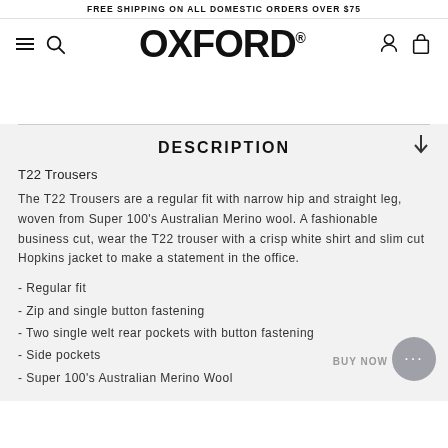FREE SHIPPING ON ALL DOMESTIC ORDERS OVER $75
[Figure (logo): Oxford brand logo with hamburger menu, search icon, user icon, and bag icon in navigation bar]
DESCRIPTION
T22 Trousers
The T22 Trousers are a regular fit with narrow hip and straight leg, woven from Super 100's Australian Merino wool. A fashionable business cut, wear the T22 trouser with a crisp white shirt and slim cut Hopkins jacket to make a statement in the office.
- Regular fit
- Zip and single button fastening
- Two single welt rear pockets with button fastening
- Side pockets
- Super 100's Australian Merino Wool